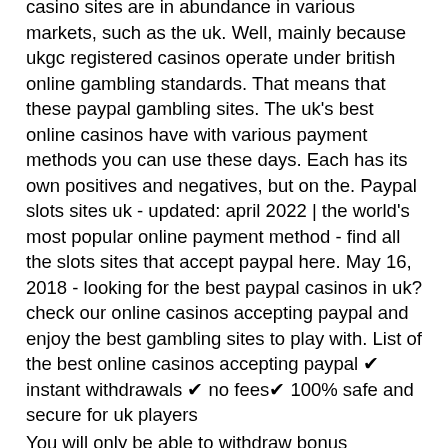casino sites are in abundance in various markets, such as the uk. Well, mainly because ukgc registered casinos operate under british online gambling standards. That means that these paypal gambling sites. The uk's best online casinos have with various payment methods you can use these days. Each has its own positives and negatives, but on the. Paypal slots sites uk - updated: april 2022 | the world's most popular online payment method - find all the slots sites that accept paypal here. May 16, 2018 - looking for the best paypal casinos in uk? check our online casinos accepting paypal and enjoy the best gambling sites to play with. List of the best online casinos accepting paypal ✔ instant withdrawals ✔ no fees✔ 100% safe and secure for uk players
You will only be able to withdraw bonus winnings if the bonus is cashable, and you have met any T&Cs set by the bonus